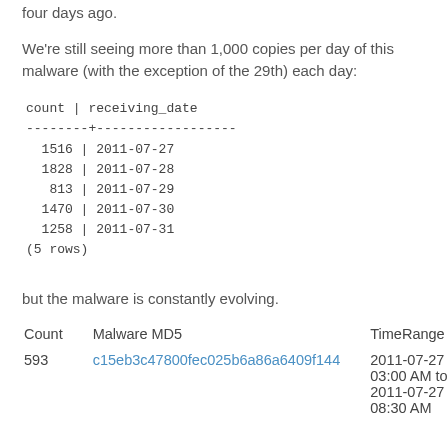four days ago.
We're still seeing more than 1,000 copies per day of this malware (with the exception of the 29th) each day:
| count | receiving_date |
| --- | --- |
| 1516 | 2011-07-27 |
| 1828 | 2011-07-28 |
| 813 | 2011-07-29 |
| 1470 | 2011-07-30 |
| 1258 | 2011-07-31 |
but the malware is constantly evolving.
| Count | Malware MD5 | TimeRange |
| --- | --- | --- |
| 593 | c15eb3c47800fec025b6a86a6409f144 | 2011-07-27 03:00 AM to 2011-07-27 08:30 AM |